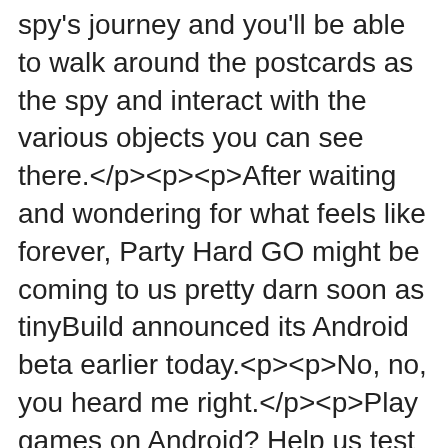spy's journey and you'll be able to walk around the postcards as the spy and interact with the various objects you can see there.</p><p><p>After waiting and wondering for what feels like forever, Party Hard GO might be coming to us pretty darn soon as tinyBuild announced its Android beta earlier today.<p><p>No, no, you heard me right.</p><p>Play games on Android? Help us test the Google Play version of #PartyHardGo, sign-up here -- https://t.co/n8lcNDrxMq pic.twitter.com/dU6SnDqBGk— tinyBuild (@tinyBuild) October 19, 2016 <p><p>Party Hard GO is a mass murder simulator in which you've got to try and put and end to your extremely loud neighbours by any means possible. No it's not an overreaction, murder is definitely the ideal solution to a problem such as this.<p><p><p>TinyBuild tweeted out not long ago that they've opened up another beta testing and are currently looking for Android users to put forth their phones. All you need is an email, a first name, a surname, and a lack of monster qualities and/or cybernetics (you need to be human). Sorry cats with thumbs.<p><p>So if you're an Android user head here